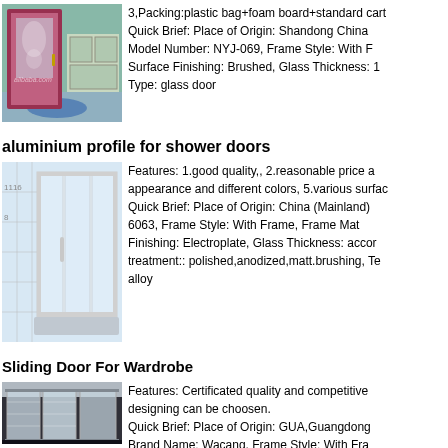[Figure (photo): Photo of a bathroom glass door with dark red/maroon frame]
3,Packing:plastic bag+foam board+standard cart Quick Brief: Place of Origin: Shandong China Model Number: NYJ-069, Frame Style: With F Surface Finishing: Brushed, Glass Thickness: 1 Type: glass door
aluminium profile for shower doors
[Figure (photo): Photo of a shower enclosure with aluminium profile frame]
Features: 1.good quality,, 2.reasonable price a appearance and different colors, 5.various surfac Quick Brief: Place of Origin: China (Mainland) 6063, Frame Style: With Frame, Frame Mat Finishing: Electroplate, Glass Thickness: accor treatment:: polished,anodized,matt.brushing, Te alloy
Sliding Door For Wardrobe
[Figure (photo): Photo of a sliding door for wardrobe, frosted glass panels]
Features: Certificated quality and competitive designing can be choosen. Quick Brief: Place of Origin: GUA,Guangdong Brand Name: Wacang, Frame Style: With Fra